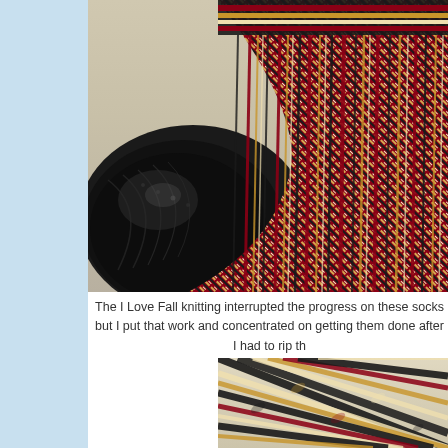[Figure (photo): Close-up photo of knitted socks with multicolor striped pattern in dark red/crimson, black, tan/cream colors, showing the heel and toe area of the sock against a light gray/white surface.]
The I Love Fall knitting interrupted the progress on these socks but I put that work and concentrated on getting them done after I had to rip th
[Figure (photo): Close-up photo of knitted fabric showing multicolor striped pattern in black, tan/cream, pink/red colors.]